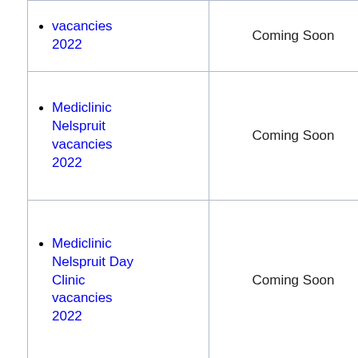| Vacancy | Status |
| --- | --- |
| [truncated top row - vacancies 2022] | Coming Soon |
| Mediclinic Nelspruit vacancies 2022 | Coming Soon |
| Mediclinic Nelspruit Day Clinic vacancies 2022 | Coming Soon |